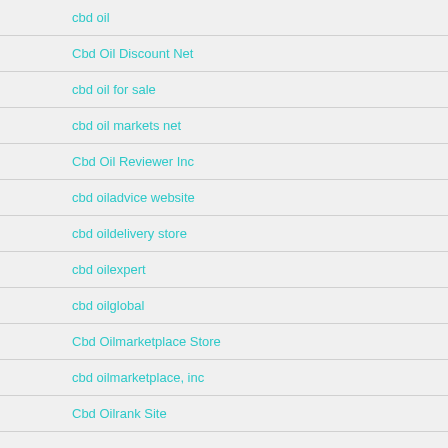cbd oil
Cbd Oil Discount Net
cbd oil for sale
cbd oil markets net
Cbd Oil Reviewer Inc
cbd oiladvice website
cbd oildelivery store
cbd oilexpert
cbd oilglobal
Cbd Oilmarketplace Store
cbd oilmarketplace, inc
Cbd Oilrank Site